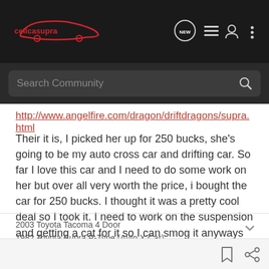celicasupra — navigation bar with search community
http://www.angelfire.com/dragon/driftdragons/supra.html
Their it is, I picked her up for 250 bucks, she's going to be my auto cross car and drifting car. So far I love this car and I need to do some work on her but over all very worth the price, i bought the car for 250 bucks. I thought it was a pretty cool deal so I took it. I need to work on the suspension and getting a cat for it so I can smog it anyways tell me what you think.
2003 Toyota Tacoma 4 Door
1982 Toyota Supra P-Type (Auto X Car)